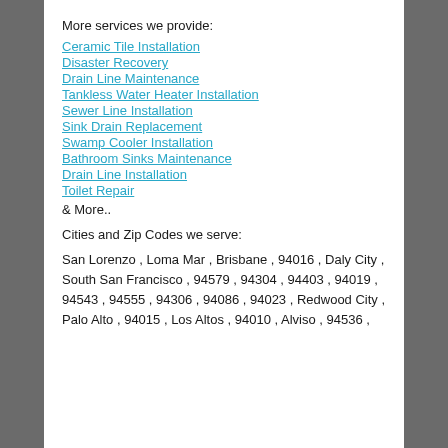More services we provide:
Ceramic Tile Installation
Disaster Recovery
Drain Line Maintenance
Tankless Water Heater Installation
Sewer Line Installation
Sink Drain Replacement
Swamp Cooler Installation
Bathroom Sinks Maintenance
Drain Line Installation
Toilet Repair
& More..
Cities and Zip Codes we serve:
San Lorenzo , Loma Mar , Brisbane , 94016 , Daly City , South San Francisco , 94579 , 94304 , 94403 , 94019 , 94543 , 94555 , 94306 , 94086 , 94023 , Redwood City , Palo Alto , 94015 , Los Altos , 94010 , Alviso , 94536 ,